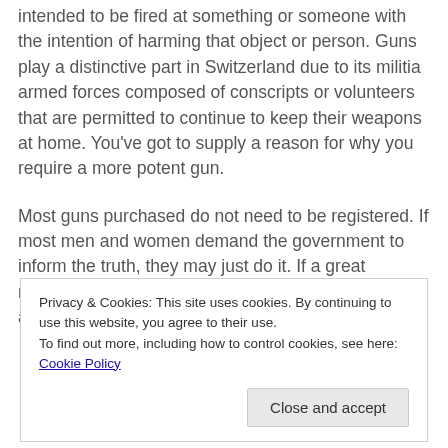intended to be fired at something or someone with the intention of harming that object or person. Guns play a distinctive part in Switzerland due to its militia armed forces composed of conscripts or volunteers that are permitted to continue to keep their weapons at home. You've got to supply a reason for why you require a more potent gun.
Most guns purchased do not need to be registered. If most men and women demand the government to inform the truth, they may just do it. If a great majority of men and women agree about something, and
Privacy & Cookies: This site uses cookies. By continuing to use this website, you agree to their use.
To find out more, including how to control cookies, see here: Cookie Policy
Close and accept
additional partial text at bottom of page